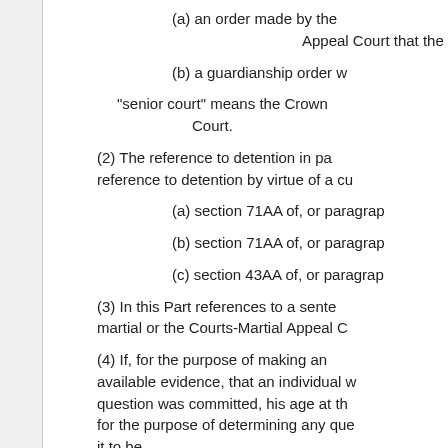(a) an order made by the Appeal Court that the indi
(b) a guardianship order w
"senior court" means the Crown Court.
(2) The reference to detention in pa reference to detention by virtue of a cu
(a) section 71AA of, or paragrap
(b) section 71AA of, or paragrap
(c) section 43AA of, or paragrap
(3) In this Part references to a sente martial or the Courts-Martial Appeal C
(4) If, for the purpose of making an available evidence, that an individual w question was committed, his age at th for the purpose of determining any que it to be.